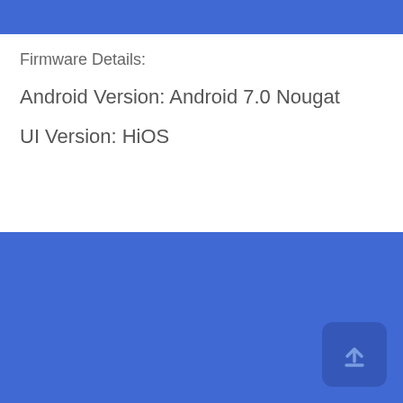Firmware Details:
Android Version: Android 7.0 Nougat
UI Version: HiOS
[Figure (other): Blue background area with an upload button icon (upward arrow in a rounded square) in the bottom-right corner]